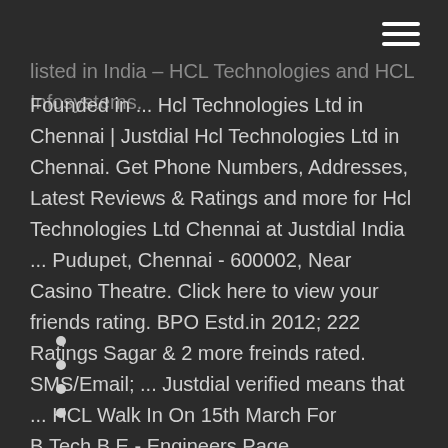listed in India – HCL Technologies and HCL Infosystems. Founded in ... Hcl Technologies Ltd in Chennai | Justdial Hcl Technologies Ltd in Chennai. Get Phone Numbers, Addresses, Latest Reviews & Ratings and more for Hcl Technologies Ltd Chennai at Justdial India ... Pudupet, Chennai - 600002, Near Casino Theatre. Click here to view your friends rating. BPO Estd.in 2012; 222 Ratings Sagar & 2 more freinds rated. SMS/Email; ... Justdial verified means that ... HCL Walk In On 15th March For B.Tech,B.E - Engineers Page